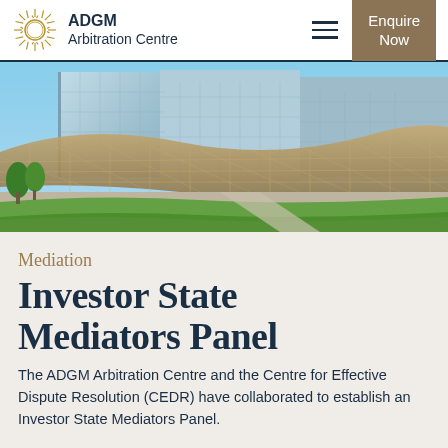[Figure (logo): ADGM Arbitration Centre logo with sunburst circle icon and text]
[Figure (photo): Modern glass skyscraper building with an ornate lattice canopy structure and green landscaping in foreground, blue sky background — ADGM campus in Abu Dhabi]
Mediation
Investor State Mediators Panel
The ADGM Arbitration Centre and the Centre for Effective Dispute Resolution (CEDR) have collaborated to establish an Investor State Mediators Panel.